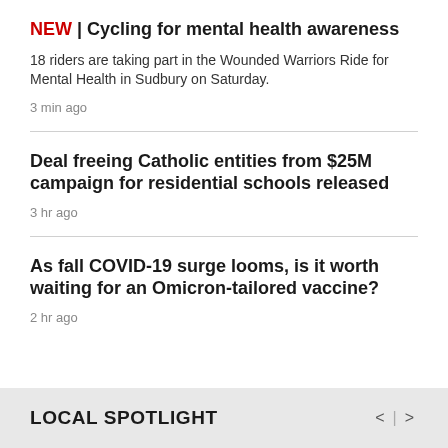NEW | Cycling for mental health awareness
18 riders are taking part in the Wounded Warriors Ride for Mental Health in Sudbury on Saturday.
3 min ago
Deal freeing Catholic entities from $25M campaign for residential schools released
3 hr ago
As fall COVID-19 surge looms, is it worth waiting for an Omicron-tailored vaccine?
2 hr ago
LOCAL SPOTLIGHT